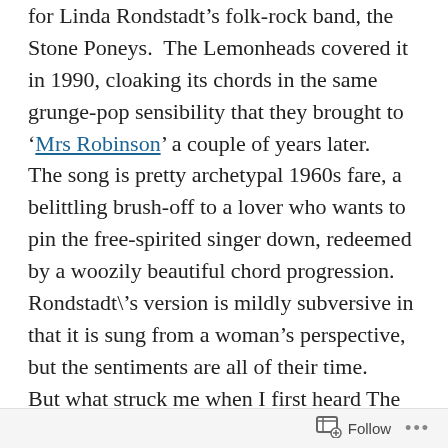for Linda Rondstadt's folk-rock band, the Stone Poneys.  The Lemonheads covered it in 1990, cloaking its chords in the same grunge-pop sensibility that they brought to 'Mrs Robinson' a couple of years later. The song is pretty archetypal 1960s fare, a belittling brush-off to a lover who wants to pin the free-spirited singer down, redeemed by a woozily beautiful chord progression. Rondstadt\'s version is mildly subversive in that it is sung from a woman's perspective, but the sentiments are all of their time. But what struck me when I first heard The Lemonheads' version, and what still resonates today, is the fact that singer Evan Dando didn't
Follow ...